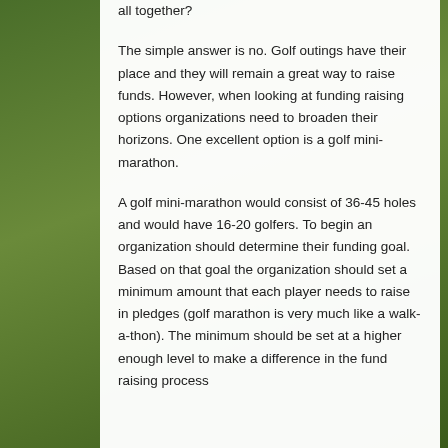all together?
The simple answer is no. Golf outings have their place and they will remain a great way to raise funds. However, when looking at funding raising options organizations need to broaden their horizons. One excellent option is a golf mini-marathon.
A golf mini-marathon would consist of 36-45 holes and would have 16-20 golfers. To begin an organization should determine their funding goal. Based on that goal the organization should set a minimum amount that each player needs to raise in pledges (golf marathon is very much like a walk- a-thon). The minimum should be set at a higher enough level to make a difference in the fund raising process and hopefully challenge some of the fundraising discipline